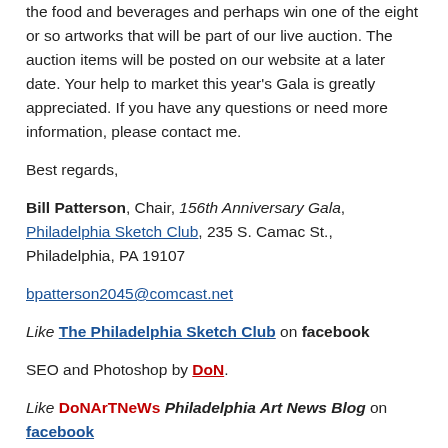the food and beverages and perhaps win one of the eight or so artworks that will be part of our live auction. The auction items will be posted on our website at a later date. Your help to market this year's Gala is greatly appreciated. If you have any questions or need more information, please contact me.
Best regards,
Bill Patterson, Chair, 156th Anniversary Gala, Philadelphia Sketch Club, 235 S. Camac St., Philadelphia, PA 19107
bpatterson2045@comcast.net
Like The Philadelphia Sketch Club on facebook
SEO and Photoshop by DoN.
Like DoNArTNeWs Philadelphia Art News Blog on facebook